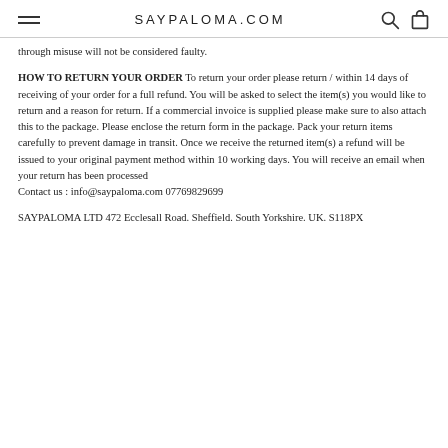SAYPALOMA.COM
through misuse will not be considered faulty.
HOW TO RETURN YOUR ORDER To return your order please return / within 14 days of receiving of your order for a full refund. You will be asked to select the item(s) you would like to return and a reason for return. If a commercial invoice is supplied please make sure to also attach this to the package. Please enclose the return form in the package. Pack your return items carefully to prevent damage in transit. Once we receive the returned item(s) a refund will be issued to your original payment method within 10 working days. You will receive an email when your return has been processed
Contact us : info@saypaloma.com 07769829699
SAYPALOMA LTD 472 Ecclesall Road. Sheffield. South Yorkshire. UK. S118PX